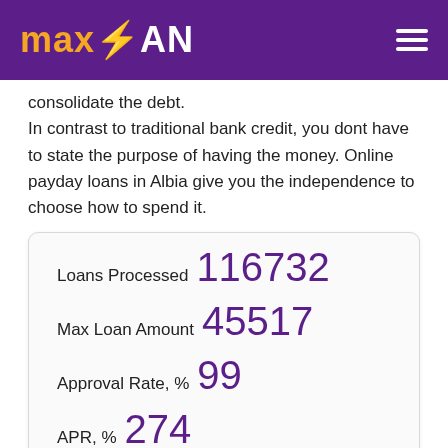maxLOAN
consolidate the debt.
In contrast to traditional bank credit, you dont have to state the purpose of having the money. Online payday loans in Albia give you the independence to choose how to spend it.
| Label | Value |
| --- | --- |
| Loans Processed | 116732 |
| Max Loan Amount | 45517 |
| Approval Rate, % | 99 |
| APR, % | 274 |